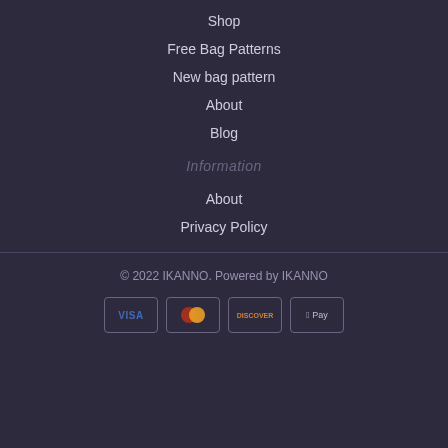Shop
Free Bag Patterns
New bag pattern
About
Blog
Information
About
Privacy Policy
© 2022 IKANNO. Powered by IKANNO